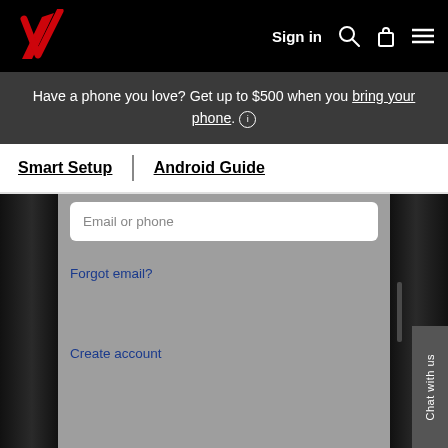Sign in
Have a phone you love? Get up to $500 when you bring your phone.
Smart Setup | Android Guide
[Figure (screenshot): Android phone screenshot showing a Google account sign-in screen with Email or phone input field, Forgot email? link, and Create account link on a grey background. The phone has a dark bezel with a side button visible on the right edge.]
Chat with us